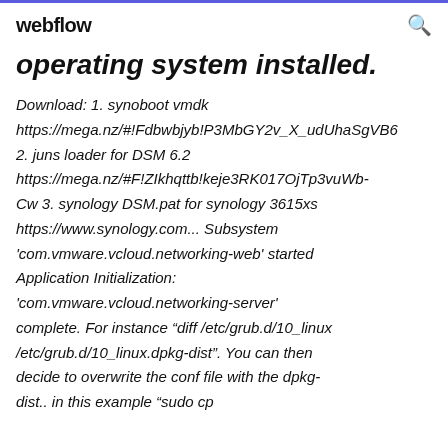webflow
operating system installed.
Download: 1. synoboot vmdk https://mega.nz/#!Fdbwbjyb!P3MbGY2v_X_udUhaSgVB6 2. juns loader for DSM 6.2 https://mega.nz/#F!ZIkhqttb!keje3RK017OjTp3vuWb-Cw 3. synology DSM.pat for synology 3615xs https://www.synology.com... Subsystem 'com.vmware.vcloud.networking-web' started Application Initialization: 'com.vmware.vcloud.networking-server' complete. For instance “diff /etc/grub.d/10_linux /etc/grub.d/10_linux.dpkg-dist”. You can then decide to overwrite the conf file with the dpkg-dist.. in this example “sudo cp